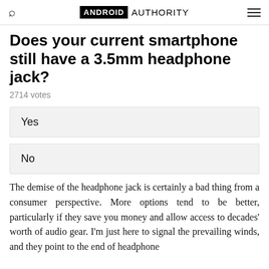ANDROID AUTHORITY
Does your current smartphone still have a 3.5mm headphone jack?
2714 votes
Yes
No
The demise of the headphone jack is certainly a bad thing from a consumer perspective. More options tend to be better, particularly if they save you money and allow access to decades' worth of audio gear. I'm just here to signal the prevailing winds, and they point to the end of headphone